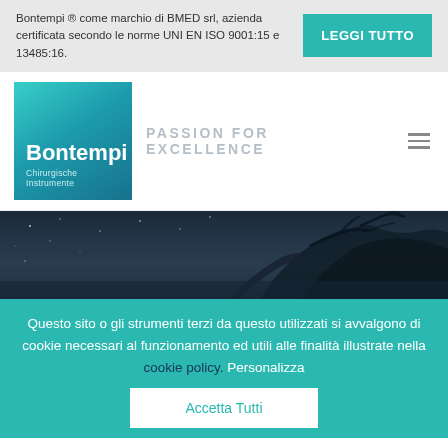Bontempi ® come marchio di BMED srl, azienda certificata secondo le norme UNI EN ISO 9001:15 e 13485:16.
LEGGI TUTTO
[Figure (logo): Bontempi Chirurgische Instrumente logo with teal gradient background]
PASSION FOR EXCELLENCE
[Figure (photo): Dark night sky with tree branches silhouette against dark blue background]
Questo sito o gli strumenti terzi da questo utilizzati si avvalgono di cookie necessari al funzionamento ed utili alle finalità illustrate nella cookie policy. Personalizza
Accetta Tutti